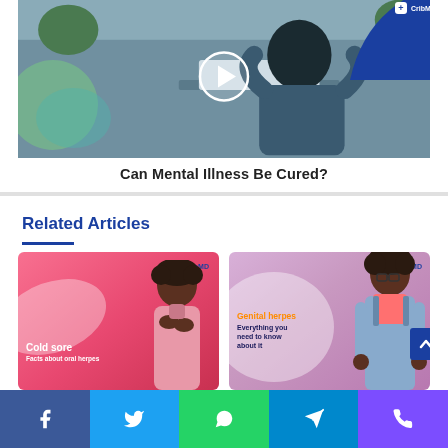[Figure (screenshot): Video thumbnail showing a person holding their head in distress at a laptop, with a play button overlay and CribMD logo, titled 'Can Mental Illness Be Cured?']
Can Mental Illness Be Cured?
Related Articles
[Figure (photo): Cold sore article card with CribMD logo, pink background, woman touching throat, text reads 'Cold sore Facts about oral herpes']
[Figure (photo): Genital herpes article card with CribMD logo, purple background, young person standing, text reads 'Genital herpes Everything you need to know about it']
[Figure (infographic): Bottom social share bar with Facebook, Twitter, WhatsApp, Telegram, and Phone icons]